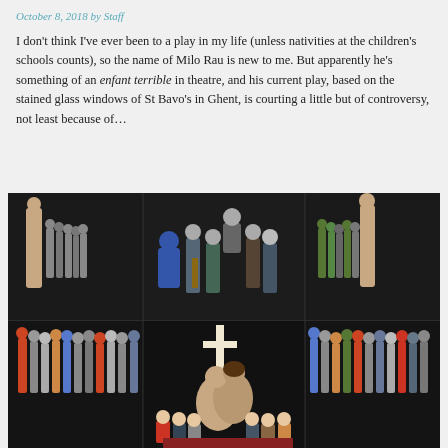October 8, 2018 by Staff
I don't think I've ever been to a play in my life (unless nativities at the children's schools counts), so the name of Milo Rau is new to me. But apparently he's something of an enfant terrible in theatre, and his current play, based on the stained glass windows of St Bavo's in Ghent, is courting a little but of controversy, not least because of…
[Figure (photo): Theater stage scene showing performers arranged in two tiers; upper tier has individual figures and groups on platforms against a dark background; lower tier shows performers around a cross with two nude figures embracing center stage and children seated in front]